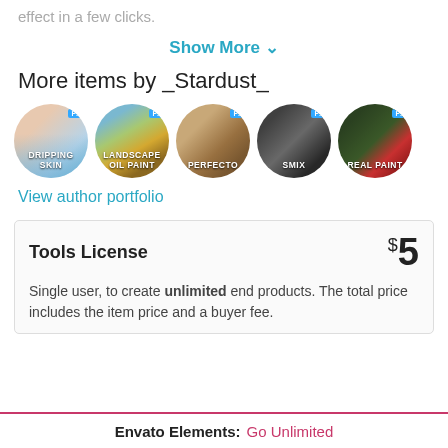effect in a few clicks.
Show More ▾
More items by _Stardust_
[Figure (illustration): Five circular product thumbnails: Dripping Skin, Landscape Oil Paint, Perfecto, SMIX, Real Paint — each with a Photoshop PS badge]
View author portfolio
Tools License   $5
Single user, to create unlimited end products. The total price includes the item price and a buyer fee.
Envato Elements:  Go Unlimited